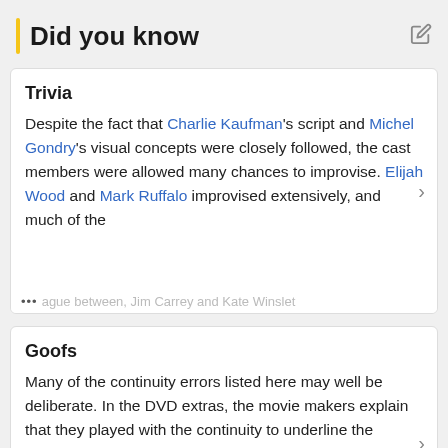Did you know
Trivia
Despite the fact that Charlie Kaufman's script and Michel Gondry's visual concepts were closely followed, the cast members were allowed many chances to improvise. Elijah Wood and Mark Ruffalo improvised extensively, and much of the ... ague between, Jim Carrey and Kate Winslet
Goofs
Many of the continuity errors listed here may well be deliberate. In the DVD extras, the movie makers explain that they played with the continuity to underline the struggle between the doctor and technicians trying to erase the ... ories and, Joel trying to hold on to them